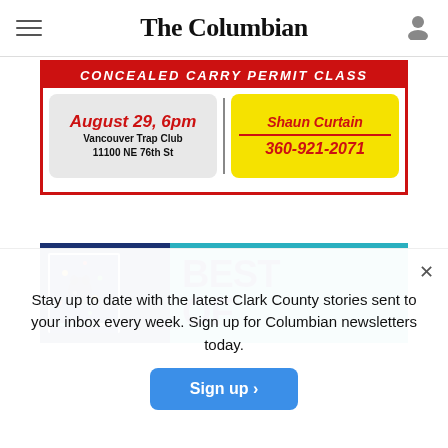The Columbian
[Figure (infographic): Advertisement for Concealed Carry Permit Class on August 29, 6pm at Vancouver Trap Club, 11100 NE 76th St. Contact Shaun Curtain at 360-921-2071.]
[Figure (infographic): Teal advertisement banner partially visible, appears to be a Best Of promotion for The Columbian.]
Stay up to date with the latest Clark County stories sent to your inbox every week. Sign up for Columbian newsletters today.